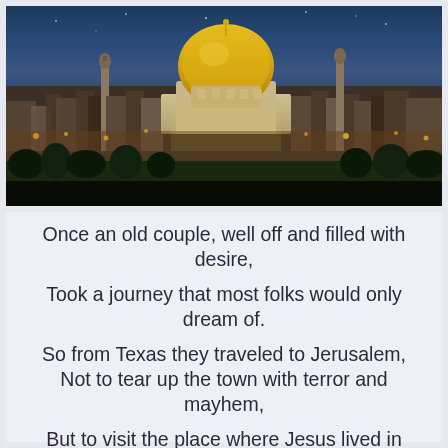[Figure (photo): Aerial/panoramic photograph of Jerusalem at dusk/night, showing the Dome of the Rock with its golden dome prominently in the center, surrounded by the city's buildings and illuminated lights against a dark sky.]
Once an old couple, well off and filled with desire,
Took a journey that most folks would only dream of.
So from Texas they traveled to Jerusalem,
Not to tear up the town with terror and mayhem,
But to visit the place where Jesus lived in love.
This is something to which many people aspire.

Every cobblestone there bleeds with much...